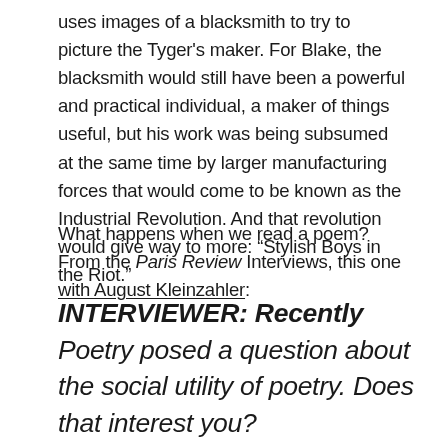uses images of a blacksmith to try to picture the Tyger's maker. For Blake, the blacksmith would still have been a powerful and practical individual, a maker of things useful, but his work was being subsumed at the same time by larger manufacturing forces that would come to be known as the Industrial Revolution. And that revolution would give way to more: “Stylish Boys in the Riot.”
What happens when we read a poem? From the Paris Review Interviews, this one with August Kleinzahler:
INTERVIEWER: Recently Poetry posed a question about the social utility of poetry. Does that interest you? KLEINZAHLER: No. I agree with Auden that “poetry makes nothing happen.” Nothing else needs to be